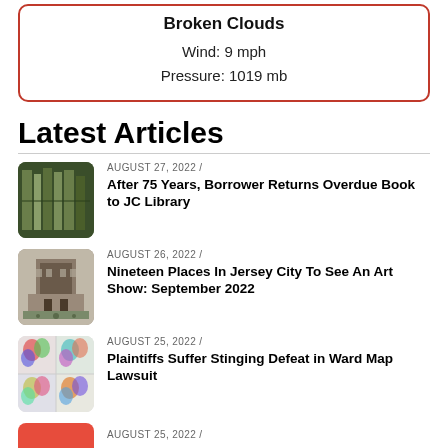Broken Clouds
Wind: 9 mph
Pressure: 1019 mb
Latest Articles
AUGUST 27, 2022 / After 75 Years, Borrower Returns Overdue Book to JC Library
AUGUST 26, 2022 / Nineteen Places In Jersey City To See An Art Show: September 2022
AUGUST 25, 2022 / Plaintiffs Suffer Stinging Defeat in Ward Map Lawsuit
AUGUST 25, 2022 /